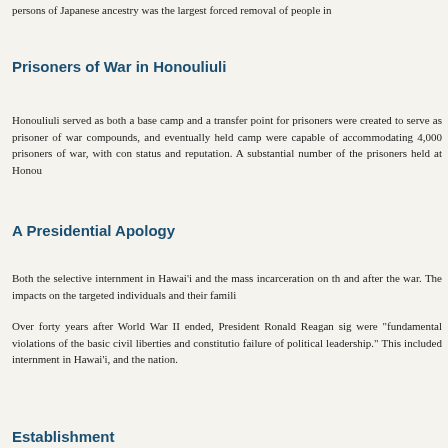persons of Japanese ancestry was the largest forced removal of people in
Prisoners of War in Honouliuli
Honouliuli served as both a base camp and a transfer point for prisoners were created to serve as prisoner of war compounds, and eventually held camp were capable of accommodating 4,000 prisoners of war, with con status and reputation. A substantial number of the prisoners held at Honou
A Presidential Apology
Both the selective internment in Hawai'i and the mass incarceration on th and after the war. The impacts on the targeted individuals and their famili
Over forty years after World War II ended, President Ronald Reagan sig were "fundamental violations of the basic civil liberties and constitutio failure of political leadership." This included internment in Hawai'i, and the nation.
Establishment